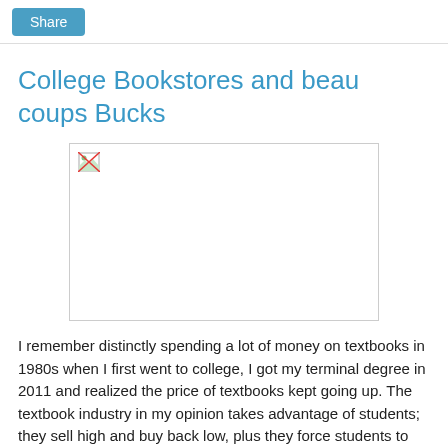Share
College Bookstores and beau coups Bucks
[Figure (photo): Broken/missing image placeholder with a small broken image icon in the top-left corner]
I remember distinctly spending a lot of money on textbooks in 1980s when I first went to college, I got my terminal degree in 2011 and realized the price of textbooks kept going up. The textbook industry in my opinion takes advantage of students; they sell high and buy back low, plus they force students to get “new” editions of textbooks all the time even though there are no significant changes in the